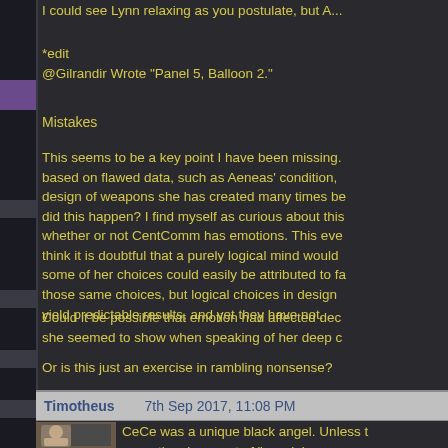*edit
@Gilrandir Wrote "Panel 5, Balloon 2."
Mistakes
This seems to be a key point I have been missing. based on flawed data, such as Aeneas' condition, design of weapons she has created many times be did this happen? I find myself as curious about this whether or not CentComm has emotions. This eve think it is doubtful that a purely logical mind would some of her choices could easily be attributed to fa those same choices, but logical choices in design yield predictable results, and yet they have not.
Could it be possible that emotion had affected dec she seemed to show when speaking of her deep c
Or is this just an exercise in rambling nonsense?
Timotheus   7th Sep 2017, 11:08 PM
CeCe was a unique black angel. Unless t exceptional amount of "special programm "surrogate Centcomm" to Dolly while